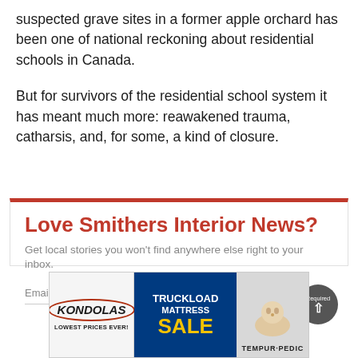suspected grave sites in a former apple orchard has been one of national reckoning about residential schools in Canada.
But for survivors of the residential school system it has meant much more: reawakened trauma, catharsis, and, for some, a kind of closure.
Love Smithers Interior News?
Get local stories you won't find anywhere else right to your inbox.
Email  Required
[Figure (other): Advertisement banner for Kondolas Truckload Mattress Sale featuring Tempur-Pedic]